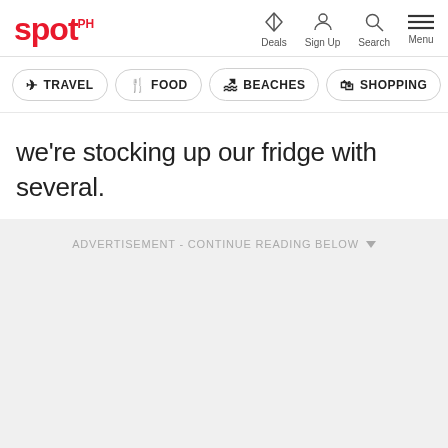spot. | Deals | Sign Up | Search | Menu
TRAVEL
FOOD
BEACHES
SHOPPING
we're stocking up our fridge with several.
ADVERTISEMENT - CONTINUE READING BELOW